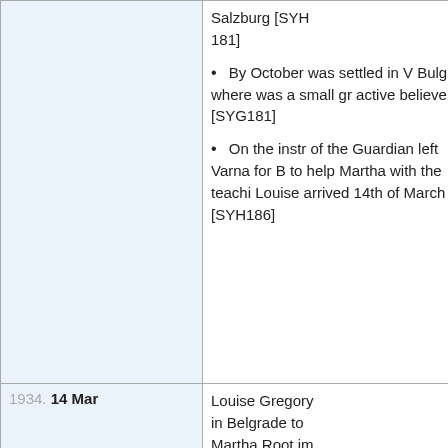| Date | Content |
| --- | --- |
|  | Salzburg [SYH181]
• By October was settled in V Bulgaria where was a small gr active believers [SYG181]
• On the instr of the Guardian left Varna for B to help Martha with the teachi Louise arrived 14th of March [SYH186] |
| 1934. 14 Mar | Louise Gregory in Belgrade to Martha Root im |